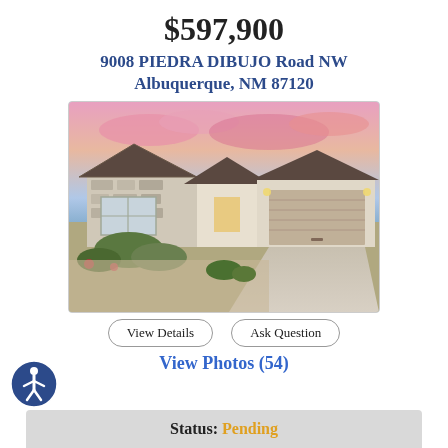$597,900
9008 PIEDRA DIBUJO Road NW
Albuquerque, NM 87120
[Figure (photo): Front exterior of a single-story home with stone facade, tile roof, two-car garage, desert landscaping, and dramatic pink sunset sky.]
View Details
Ask Question
View Photos (54)
Status: Pending